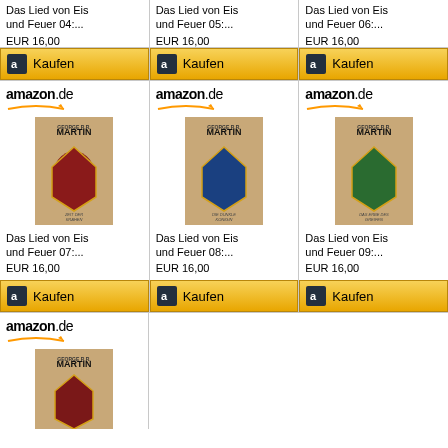[Figure (screenshot): Amazon.de product listing grid showing George R.R. Martin Das Lied von Eis und Feuer book series, volumes 04-10, each priced EUR 16,00 with Kaufen button]
Das Lied von Eis und Feuer 04:...
EUR 16,00
Kaufen
Das Lied von Eis und Feuer 05:...
EUR 16,00
Kaufen
Das Lied von Eis und Feuer 06:...
EUR 16,00
Kaufen
Das Lied von Eis und Feuer 07:...
EUR 16,00
Kaufen
Das Lied von Eis und Feuer 08:...
EUR 16,00
Kaufen
Das Lied von Eis und Feuer 09:...
EUR 16,00
Kaufen